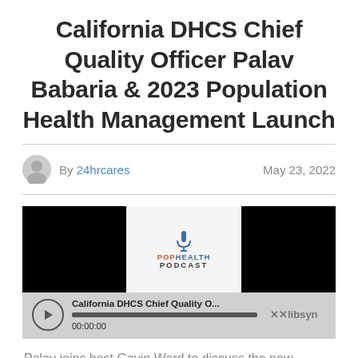California DHCS Chief Quality Officer Palav Babaria & 2023 Population Health Management Launch
By 24hrcares   May 23, 2022
[Figure (screenshot): Podcast player embed showing 'California DHCS Chief Quality O...' with Pop Health Podcast logo, play button, progress bar at 00:00:00, and libsyn branding.]
Palav joins host Gavin Ward to discuss the new Popation Health Management efforts that DHCS is launching in 2023 in California. Before getting into the details, Palav reveals her competiveness